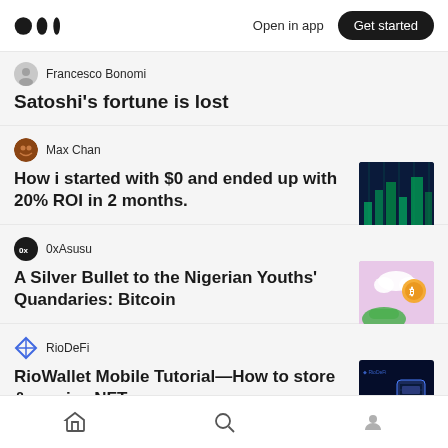Open in app  Get started
Francesco Bonomi
Satoshi's fortune is lost
Max Chan
How i started with $0 and ended up with 20% ROI in 2 months.
0xAsusu
A Silver Bullet to the Nigerian Youths' Quandaries: Bitcoin
RioDeFi
RioWallet Mobile Tutorial—How to store & receive NFTs
Home  Search  Profile